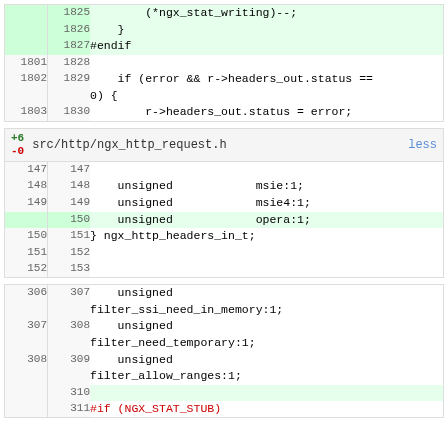[Figure (screenshot): Code diff view showing three blocks of source code changes. First block shows lines 1825-1830 with (*ngx_stat_writing)--; } #endif and if/error headers_out code. Second block is src/http/ngx_http_request.h with +6/-0 changes showing unsigned msie:1, msie4:1, opera:1 additions and ngx_http_headers_in_t. Third block shows lines 306-311 with unsigned filter_ssi_need_in_memory:1, filter_need_temporary:1, filter_allow_ranges:1 and #if (NGX_STAT_STUB).]